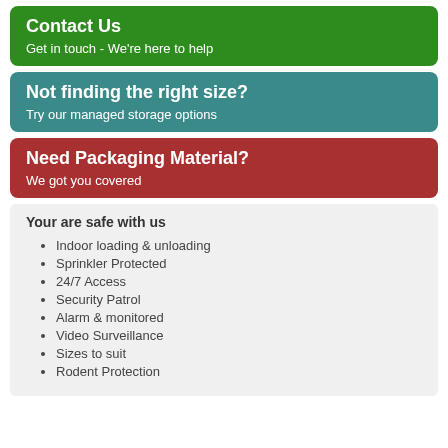Contact Us
Get in touch - We're here to help
Not finding the right size?
Try our managed storage options
Need Packaging Material?
We got you covered
Your are safe with us
Indoor loading & unloading
Sprinkler Protected
24/7 Access
Security Patrol
Alarm & monitored
Video Surveillance
Sizes to suit
Rodent Protection